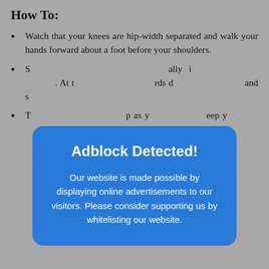How To:
Watch that your knees are hip-width separated and walk your hands forward about a foot before your shoulders.
S[partially obscured by adblock overlay]ally i[…]. At t[…]rds d[…]and s[…]
T[partially obscured]p as y[…]eep y[…]dth s[…]ght a[…]
[Figure (screenshot): Adblock Detected! overlay popup. Text: 'Our website is made possible by displaying online advertisements to our visitors. Please consider supporting us by whitelisting our website.']
Rectify your arms as much as you can. Lift the weight up out of your wrists by illustration your shoulders up and back. And after that apparently turn your upper arms to feel an expanding over your upper back.
Keep drawing your hips up and back.